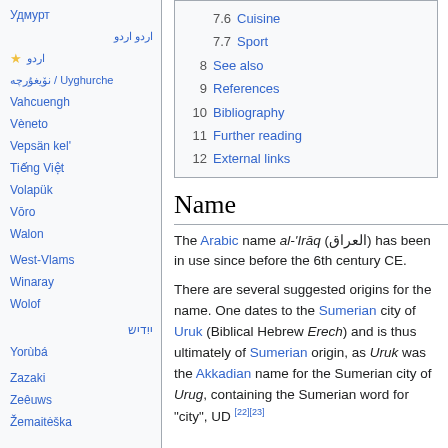Удмурт
اردو (with star)
نۆيغۇرچە / Uyghurche
Vahcuengh
Vèneto
Vepsän kel'
Tiếng Việt
Volapük
Vōro
Walon
West-Vlams
Winaray
Wolof
ייִדיש
Yorùbá
Zazaki
Zeêuws
Žemaitėška
| num | entry |
| --- | --- |
| 7.6 | Cuisine |
| 7.7 | Sport |
| 8 | See also |
| 9 | References |
| 10 | Bibliography |
| 11 | Further reading |
| 12 | External links |
Name
The Arabic name al-'Irāq (العراق) has been in use since before the 6th century CE.
There are several suggested origins for the name. One dates to the Sumerian city of Uruk (Biblical Hebrew Erech) and is thus ultimately of Sumerian origin, as Uruk was the Akkadian name for the Sumerian city of Urug, containing the Sumerian word for "city", UD.[22][23]